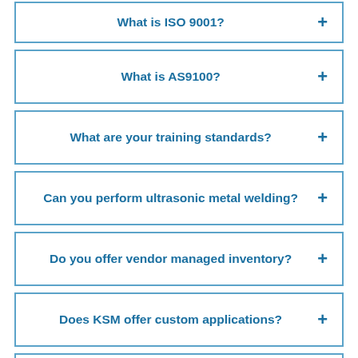What is ISO 9001?
What is AS9100?
What are your training standards?
Can you perform ultrasonic metal welding?
Do you offer vendor managed inventory?
Does KSM offer custom applications?
Will KSM handle orders for prototypes?